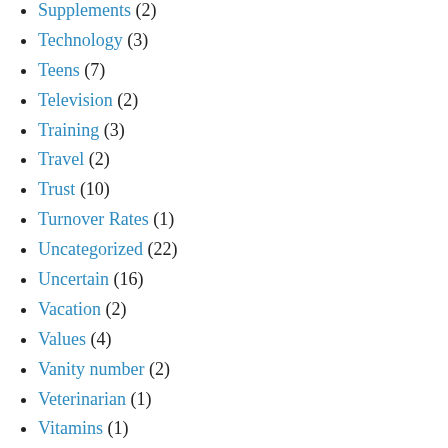Supplements (2)
Technology (3)
Teens (7)
Television (2)
Training (3)
Travel (2)
Trust (10)
Turnover Rates (1)
Uncategorized (22)
Uncertain (16)
Vacation (2)
Values (4)
Vanity number (2)
Veterinarian (1)
Vitamins (1)
Voters (2)
Wine (2)